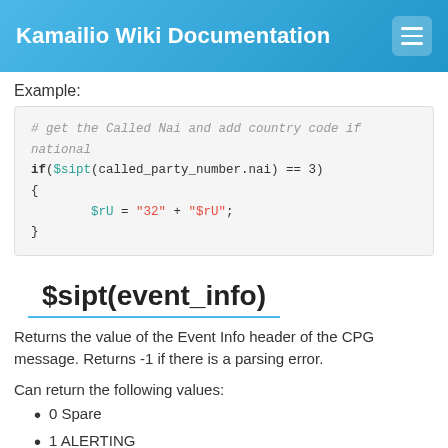Kamailio Wiki Documentation
Example:
$sipt(event_info)
Returns the value of the Event Info header of the CPG message. Returns -1 if there is a parsing error.
Can return the following values:
0 Spare
1 ALERTING
2 PROGRESS
3 In-band information or an appropriate pattern is